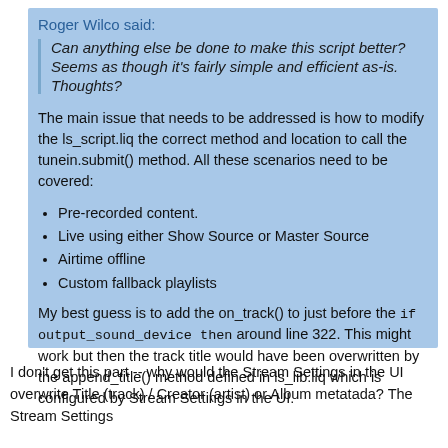Roger Wilco said:
Can anything else be done to make this script better? Seems as though it's fairly simple and efficient as-is. Thoughts?
The main issue that needs to be addressed is how to modify the ls_script.liq the correct method and location to call the tunein.submit() method. All these scenarios need to be covered:
Pre-recorded content.
Live using either Show Source or Master Source
Airtime offline
Custom fallback playlists
My best guess is to add the on_track() to just before the if output_sound_device then around line 322. This might work but then the track title would have been overwritten by the append_title() method defined in ls_lib.liq which is configured by Stream Settings in the UI.
I don't get this part -- why would the Stream Settings in the UI overwrite Title (track) / Creator (artist) or Album metatada? The Stream Settings